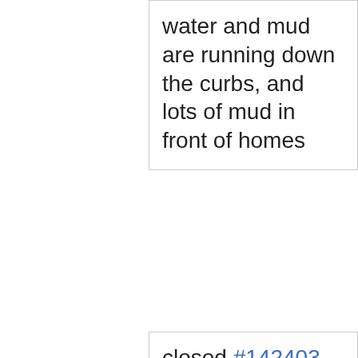water and mud are running down the curbs, and lots of mud in front of homes
closed #142403 Water Utility Problems 3857 W Woodmere WAY Case Date: 11/13,